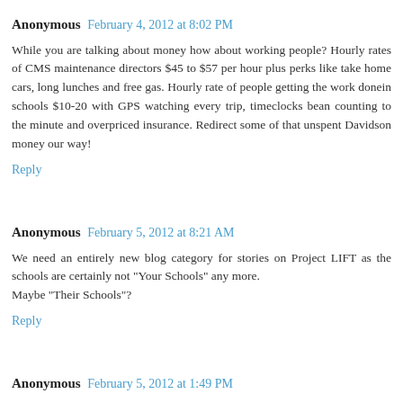Anonymous  February 4, 2012 at 8:02 PM
While you are talking about money how about working people? Hourly rates of CMS maintenance directors $45 to $57 per hour plus perks like take home cars, long lunches and free gas. Hourly rate of people getting the work donein schools $10-20 with GPS watching every trip, timeclocks bean counting to the minute and overpriced insurance. Redirect some of that unspent Davidson money our way!
Reply
Anonymous  February 5, 2012 at 8:21 AM
We need an entirely new blog category for stories on Project LIFT as the schools are certainly not "Your Schools" any more.
Maybe "Their Schools"?
Reply
Anonymous  February 5, 2012 at 1:49 PM